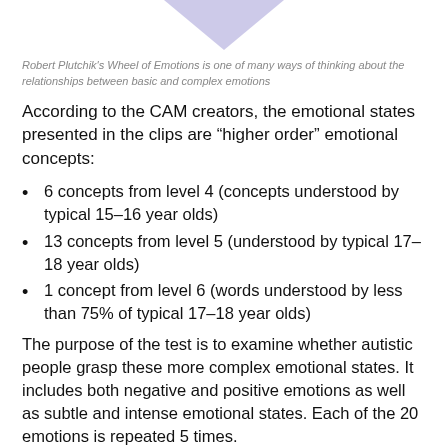[Figure (illustration): Bottom portion of a downward-pointing triangle with lavender/purple fill, representing the tip of Plutchik's Wheel of Emotions cone/pyramid]
Robert Plutchik's Wheel of Emotions is one of many ways of thinking about the relationships between basic and complex emotions
According to the CAM creators, the emotional states presented in the clips are “higher order” emotional concepts:
6 concepts from level 4 (concepts understood by typical 15–16 year olds)
13 concepts from level 5 (understood by typical 17–18 year olds)
1 concept from level 6 (words understood by less than 75% of typical 17–18 year olds)
The purpose of the test is to examine whether autistic people grasp these more complex emotional states. It includes both negative and positive emotions as well as subtle and intense emotional states. Each of the 20 emotions is repeated 5 times.